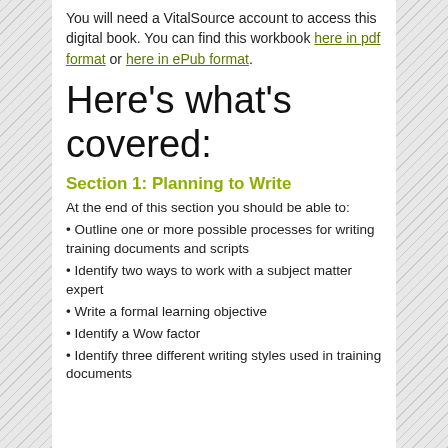You will need a VitalSource account to access this digital book. You can find this workbook here in pdf format or here in ePub format.
Here's what's covered:
Section 1: Planning to Write
At the end of this section you should be able to:
• Outline one or more possible processes for writing training documents and scripts
• Identify two ways to work with a subject matter expert
• Write a formal learning objective
• Identify a Wow factor
• Identify three different writing styles used in training documents